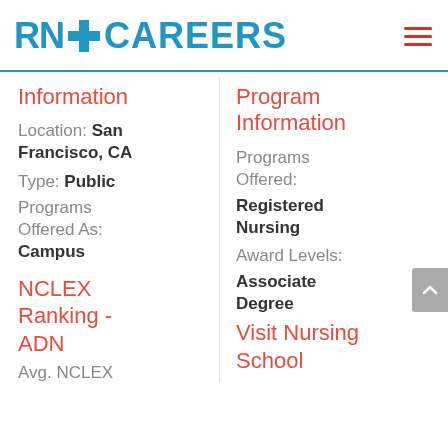RN CAREERS
Information
Location: San Francisco, CA
Type: Public
Programs Offered As: Campus
NCLEX Ranking - ADN
Avg. NCLEX
Program Information
Programs Offered:
Registered Nursing
Award Levels:
Associate Degree
Visit Nursing School